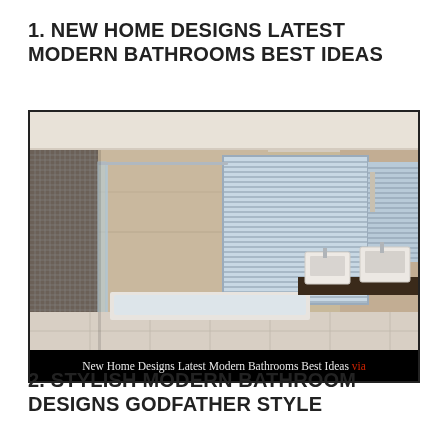1. NEW HOME DESIGNS LATEST MODERN BATHROOMS BEST IDEAS
[Figure (photo): Modern luxury bathroom with beige marble tiles, glass shower enclosure, bathtub with venetian blind window, and double vessel sinks on dark countertop. Caption reads: New Home Designs Latest Modern Bathrooms Best Ideas via]
2. STYLISH MODERN BATHROOM DESIGNS GODFATHER STYLE